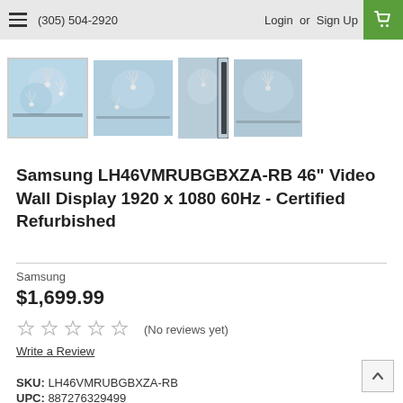(305) 504-2920   Login or Sign Up
[Figure (photo): Four product thumbnail images of a Samsung video wall display showing the monitor from different angles, with a dandelion-like flower image on screen. First thumbnail is selected with a border.]
Samsung LH46VMRUBGBXZA-RB 46" Video Wall Display 1920 x 1080 60Hz - Certified Refurbished
Samsung
$1,699.99
(No reviews yet)
Write a Review
SKU:  LH46VMRUBGBXZA-RB
UPC:  887276329499